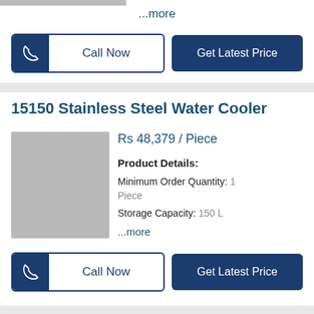...more
Call Now
Get Latest Price
15150 Stainless Steel Water Cooler
[Figure (photo): Product image placeholder (gray rectangle) for 15150 Stainless Steel Water Cooler]
Rs 48,379 / Piece
Product Details:
Minimum Order Quantity: 1 Piece
Storage Capacity: 150 L
...more
Call Now
Get Latest Price